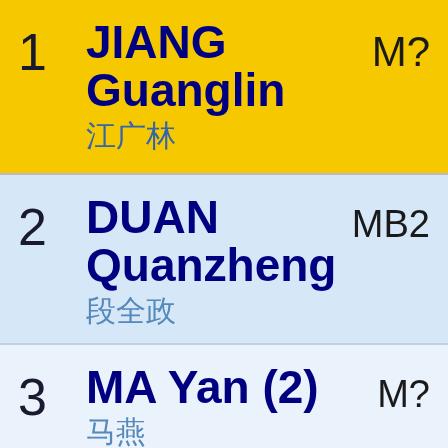1  JIANG Guanglin  江广林  M?
2  DUAN Quanzheng  段全政  MB2
3  MA Yan (2)  马燕  M?
4  GE